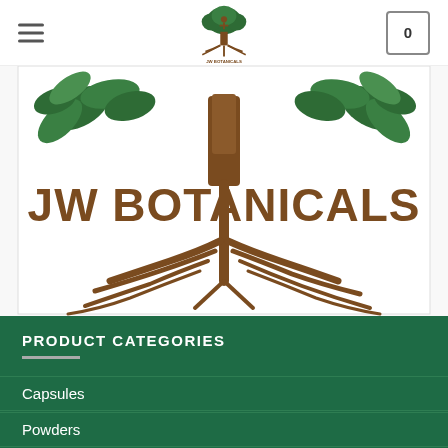JW Botanicals — navigation header with hamburger menu, logo, and cart
[Figure (logo): JW Botanicals logo banner: tree with leafy branches, text 'JW BOTANICALS', and sprawling roots on white background]
PRODUCT CATEGORIES
Capsules
Powders